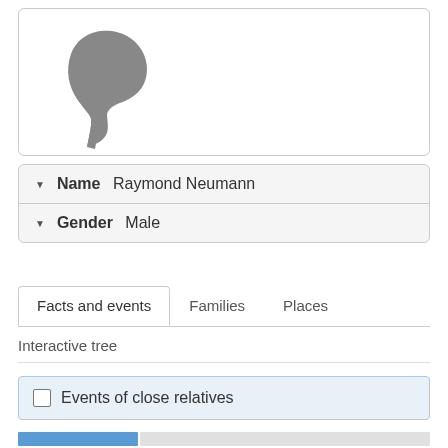[Figure (illustration): Gray silhouette of a person's head and shoulders profile facing right]
Name Raymond Neumann
Gender Male
Facts and events | Families | Places
Interactive tree
Events of close relatives